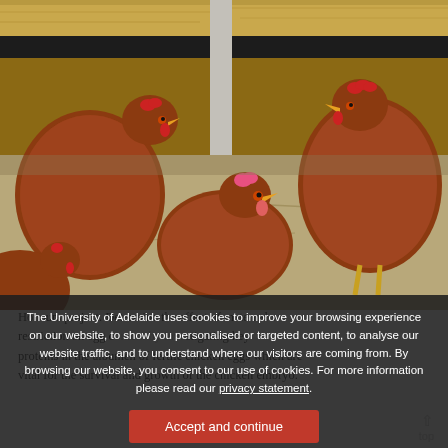[Figure (photo): Photograph of brown/red hens in a nesting box with wood shavings, one sitting in the center, others around]
The University of Adelaide uses cookies to improve your browsing experience on our website, to show you personalised or targeted content, to analyse our website traffic, and to understand where our visitors are coming from. By browsing our website, you consent to our use of cookies. For more information please read our privacy statement.
Honours project. Determine the effect of maternal weight restriction on egg composition by investigating key proteins in the albumen of fertile chicken eggs which are vital for the survival and growth of the chicken embryo.